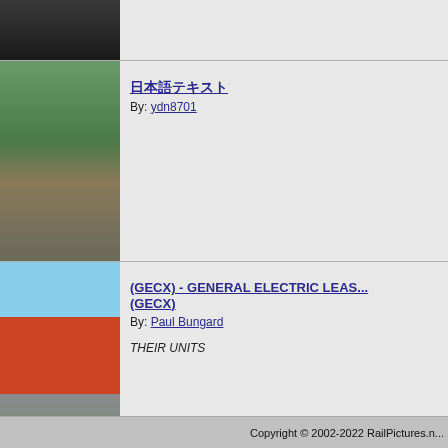[Figure (photo): Train yard photo thumbnail (dark/warehouse scene)]
[Figure (photo): Multiple colored locomotives on tracks with green hills background]
日本語テキスト
By: ydn8701
[Figure (photo): Red and silver locomotive on tracks]
(GECX) - GENERAL ELECTRIC LEAS... (GECX)
By: Paul Bungard
THEIR UNITS
[Figure (photo): Yellow Union Pacific locomotives pulling long freight train through town]
Favorite Steam photos
By: icr
[Figure (photo): Gray New York Central passenger train at station]
New York Central
By: ME Rail Road
EMD E8A Bulldog
Copyright © 2002-2022 RailPictures.n...